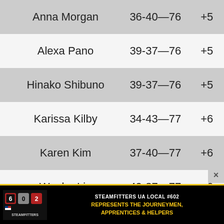| Name | Score | +/- |
| --- | --- | --- |
| Anna Morgan | 36-40—76 | +5 |
| Alexa Pano | 39-37—76 | +5 |
| Hinako Shibuno | 39-37—76 | +5 |
| Karissa Kilby | 34-43—77 | +6 |
| Karen Kim | 37-40—77 | +6 |
| Wenbo Liu | 40-37—77 | +6 |
| Pornanong Phatlum | 37-40—77 | +6 |
[Figure (other): Steamfitters UA Local #602 advertisement banner — black background with yellow border, logo on left, text: STEAMFITTERS UA LOCAL #602 REPRESENTS THE JOURNEYMEN, APPRENTICES & HELPERS]